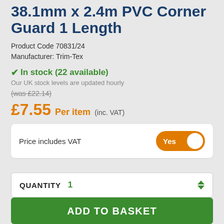38.1mm x 2.4m PVC Corner Guard 1 Length
Product Code 70831/24
Manufacturer: Trim-Tex
✔ In stock (22 available)
Our UK stock levels are updated hourly
(was £22.14)
£7.55 Per item (inc. VAT)
Price includes VAT  Yes
QUANTITY  1
ADD TO BASKET